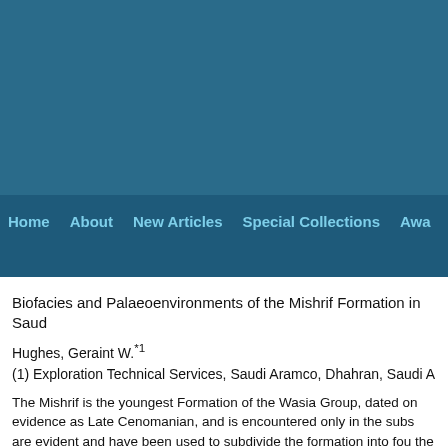[Figure (other): Blue header banner background for journal website]
Home   About   New Articles   Special Collections   Awa...
Biofacies and Palaeoenvironments of the Mishrif Formation in Saud...
Hughes, Geraint W.*1
(1) Exploration Technical Services, Saudi Aramco, Dhahran, Saudi A...
The Mishrif is the youngest Formation of the Wasia Group, dated on evidence as Late Cenomanian, and is encountered only in the subs... are evident and have been used to subdivide the formation into fou... the shallowest beds are sufficiently porous to provide intra-formation...
The deepest biofacies contains planktonic foraminifera Hedbergella... rare Rotalipora appenninica with calcareous dinocysts Calcisphaeru... Fragments of the pelagic crinoid Roveacrinus are well represented. nodosarids and lenticulinids and the fine-grained packstone fabric, s... deep marine setting, typical of an intra-shelf basin. This biofacies is...